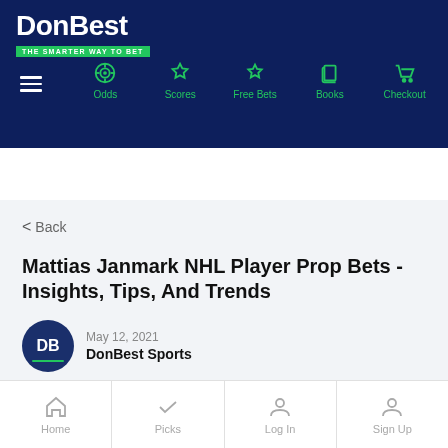DonBest - THE SMARTER WAY TO BET - Navigation: Odds, Scores, Free Bets, Books, Checkout
< Back
Mattias Janmark NHL Player Prop Bets - Insights, Tips, And Trends
May 12, 2021
DonBest Sports
Home | Picks | Log In | Sign Up